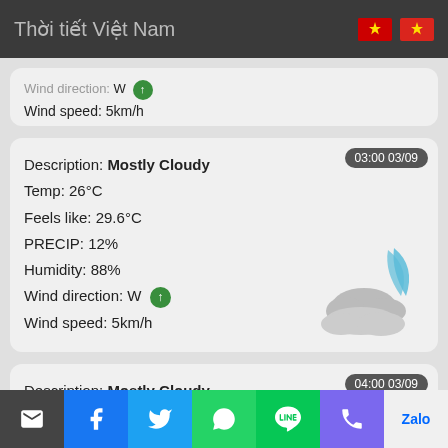Thời tiết Việt Nam
Wind direction: W
Wind speed: 5km/h
03:00 03/09
Description: Mostly Cloudy
Temp: 26°C
Feels like: 29.6°C
PRECIP: 12%
Humidity: 88%
Wind direction: W
Wind speed: 5km/h
04:00 03/09
Description: Mostly Cloudy
Temp: 26°C
Feels like: 29.3°C
PRECIP: 11%
[Figure (screenshot): Mostly cloudy night weather icon with moon and clouds]
[Figure (screenshot): Mostly cloudy night weather icon (partial)]
Email | Facebook | Twitter | WhatsApp | Line | Phone | Zalo